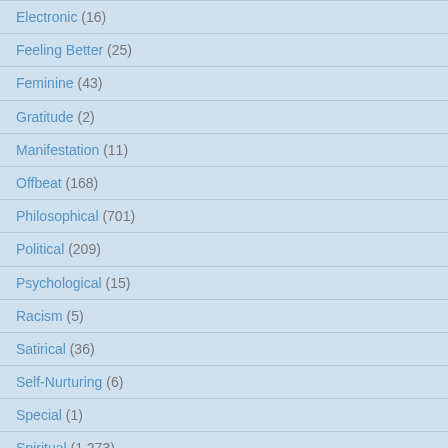Electronic (16)
Feeling Better (25)
Feminine (43)
Gratitude (2)
Manifestation (11)
Offbeat (168)
Philosophical (701)
Political (209)
Psychological (15)
Racism (5)
Satirical (36)
Self-Nurturing (6)
Special (1)
Spiritual (1,273)
Uncategorized (40)